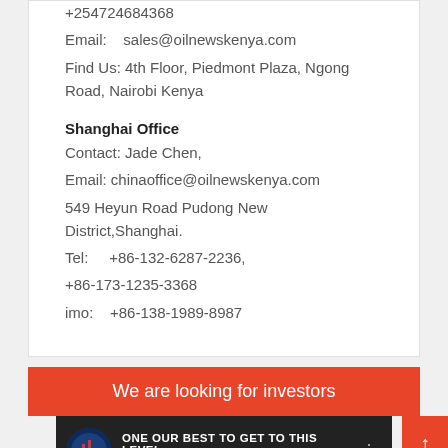+254724684368
Email:    sales@oilnewskenya.com
Find Us: 4th Floor, Piedmont Plaza, Ngong Road, Nairobi Kenya
Shanghai Office
Contact: Jade Chen,
Email: chinaoffice@oilnewskenya.com
549 Heyun Road Pudong New District,Shanghai.
Tel:     +86-132-6287-2236,
+86-173-1235-3368
imo:     +86-138-1989-8987
We are looking for investors
[Figure (screenshot): Video thumbnail showing OilNews Kenya channel with text 'ONE OUR BEST TO GET TO THIS LEVEL' and 'OilNews Kenya (www.oilnew...']